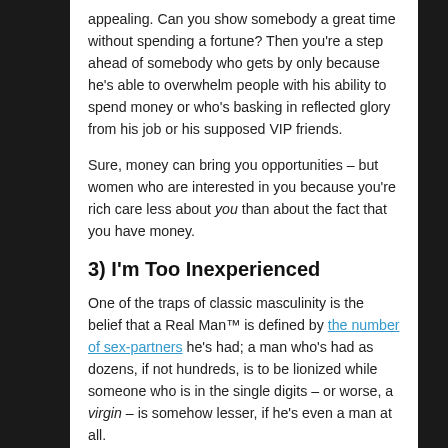appealing. Can you show somebody a great time without spending a fortune? Then you're a step ahead of somebody who gets by only because he's able to overwhelm people with his ability to spend money or who's basking in reflected glory from his job or his supposed VIP friends.
Sure, money can bring you opportunities – but women who are interested in you because you're rich care less about you than about the fact that you have money.
3) I'm Too Inexperienced
One of the traps of classic masculinity is the belief that a Real Man™ is defined by the number of sex-partners he's had; a man who's had as dozens, if not hundreds, is to be lionized while someone who is in the single digits – or worse, a virgin – is somehow lesser, if he's even a man at all.
Lots of men who are dating, especially younger men,